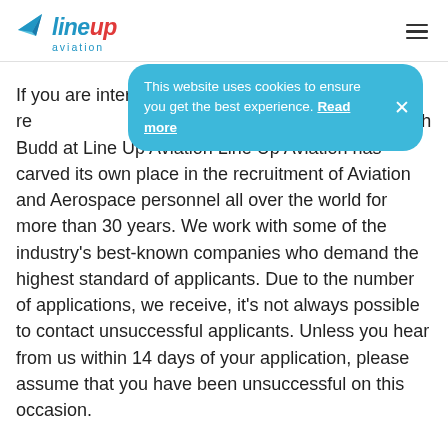line up aviation
[Figure (screenshot): Cookie consent banner: 'This website uses cookies to ensure you get the best experience. Read more' with a close X button, styled with rounded blue background]
If you are interested and you meet the requirements, please send an updated CV to: Sarah Budd at Line Up Aviation Line Up Aviation has carved its own place in the recruitment of Aviation and Aerospace personnel all over the world for more than 30 years. We work with some of the industry's best-known companies who demand the highest standard of applicants. Due to the number of applications, we receive, it's not always possible to contact unsuccessful applicants. Unless you hear from us within 14 days of your application, please assume that you have been unsuccessful on this occasion.